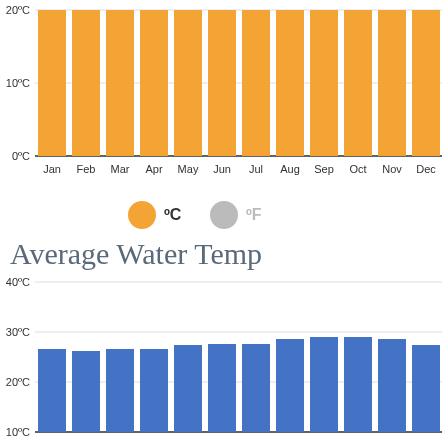[Figure (bar-chart): Average Air Temperature (partial, top)]
[Figure (other): Legend showing orange circle for °C and gray circle for °F]
Average Water Temp
[Figure (bar-chart): Average Water Temp]